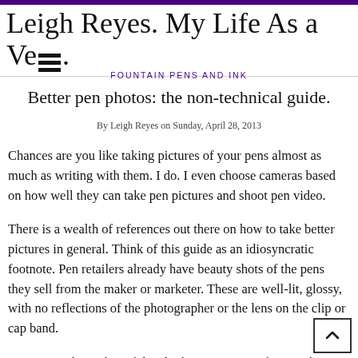Leigh Reyes. My Life As a Ve[logo].
FOUNTAIN PENS AND INK
Better pen photos: the non-technical guide.
By Leigh Reyes on Sunday, April 28, 2013
Chances are you like taking pictures of your pens almost as much as writing with them. I do. I even choose cameras based on how well they can take pen pictures and shoot pen video.
There is a wealth of references out there on how to take better pictures in general. Think of this guide as an idiosyncratic footnote. Pen retailers already have beauty shots of the pens they sell from the maker or marketer. These are well-lit, glossy, with no reflections of the photographer or the lens on the clip or cap band.
I am a proud member of the "look, I can see my face on the ca[p]